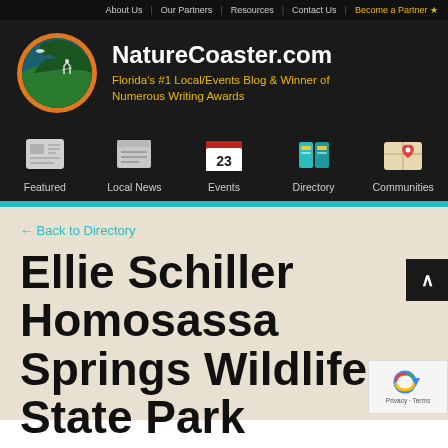About Us | Our Partners | Resources | Contact Us | Become a Partner
[Figure (logo): NatureCoaster.com logo: circular icon with orange ring, teal/green nature scene with bird and hiker silhouette]
NatureCoaster.com
Florida's #1 Local/Events Blog & Winner of Numerous Writing Awards
[Figure (infographic): Navigation icons row: Featured (newspaper icon), Local News (newspaper icon), Events (calendar icon with 23), Directory (books icon), Communities (map icon)]
← Back to Directory
Ellie Schiller Homosassa Springs Wildlife State Park